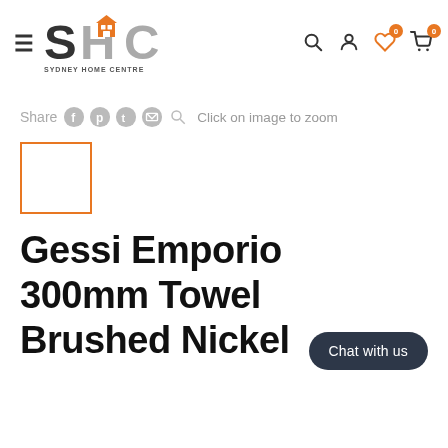Sydney Home Centre navigation header with logo, search, account, wishlist (0), and cart (0) icons
Share [social icons] Click on image to zoom
[Figure (photo): Orange-bordered product thumbnail box (empty/placeholder)]
Gessi Emporio 300mm Towel Brushed Nickel
Chat with us